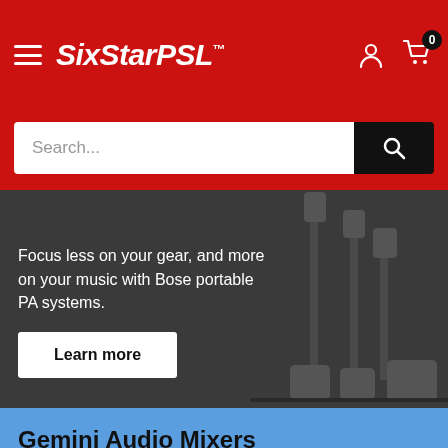SixStarPSL
Search...
[Figure (photo): Bose portable PA systems banner with tall speaker stands against dark background. Text: Focus less on your gear, and more on your music with Bose portable PA systems. Learn more button.]
Focus less on your gear, and more on your music with Bose portable PA systems.
Gemini Audio Mixers
Equipped with Bluetooth streaming, USB playback, customizable sound
GEM-05USB
GEM-08USB
GEM-10USB